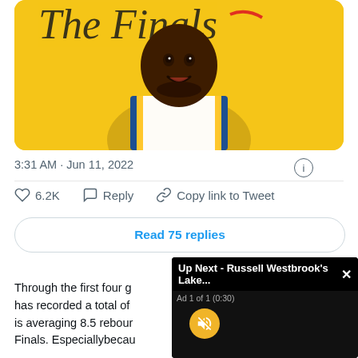[Figure (illustration): Cartoon/illustrated image of a basketball player in Golden State Warriors uniform on a yellow background with 'The Finals' text]
3:31 AM · Jun 11, 2022
6.2K   Reply   Copy link to Tweet
Read 75 replies
[Figure (screenshot): Video overlay popup: 'Up Next - Russell Westbrook's Lake...' with Ad 1 of 1 (0:30) and mute button on black background]
Through the first four g has recorded a total of is averaging 8.5 rebour Finals. Especiallybecau